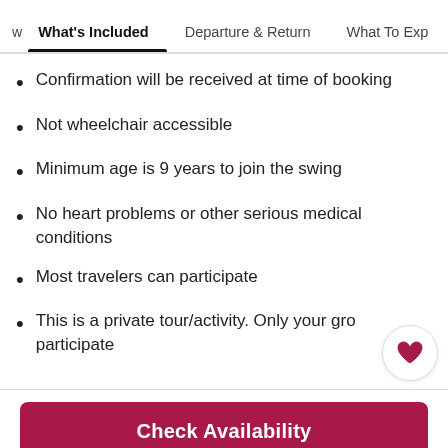What's Included | Departure & Return | What To Exp...
Confirmation will be received at time of booking
Not wheelchair accessible
Minimum age is 9 years to join the swing
No heart problems or other serious medical conditions
Most travelers can participate
This is a private tour/activity. Only your gro... participate
Check Availability